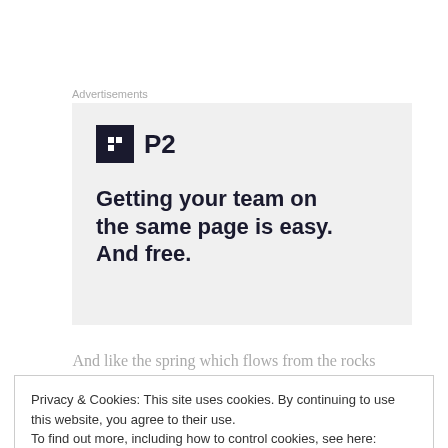Advertisements
[Figure (other): P2 advertisement banner with logo and tagline: Getting your team on the same page is easy. And free.]
And like the spring which flows from the rocks
Privacy & Cookies: This site uses cookies. By continuing to use this website, you agree to their use.
To find out more, including how to control cookies, see here: Cookie Policy
Close and accept